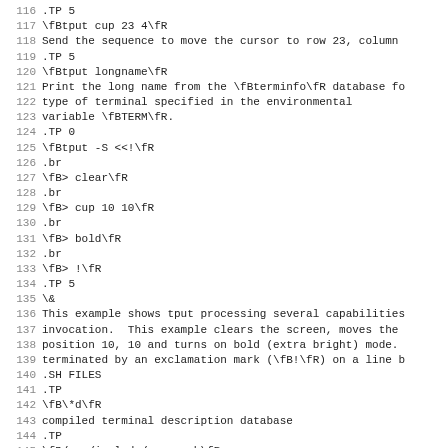Lines 115-147 of a man page / troff source for tput command documentation
116 .TP 5
117 \fBtput cup 23 4\fR
118 Send the sequence to move the cursor to row 23, column
119 .TP 5
120 \fBtput longname\fR
121 Print the long name from the \fBterminfo\fR database fo
122 type of terminal specified in the environmental
123 variable \fBTERM\fR.
124 .TP 0
125 \fBtput -S <<!\fR
126 .br
127 \fB> clear\fR
128 .br
129 \fB> cup 10 10\fR
130 .br
131 \fB> bold\fR
132 .br
133 \fB> !\fR
134 .TP 5
135 \&
136 This example shows tput processing several capabilities
137 invocation.  This example clears the screen, moves the
138 position 10, 10 and turns on bold (extra bright) mode.
139 terminated by an exclamation mark (\fB!\fR) on a line b
140 .SH FILES
141 .TP
142 \fB\*d\fR
143 compiled terminal description database
144 .TP
145 \fB/usr/include/curses.h\fR
146 \fBcurses\fR(3X) header file
147 .TP